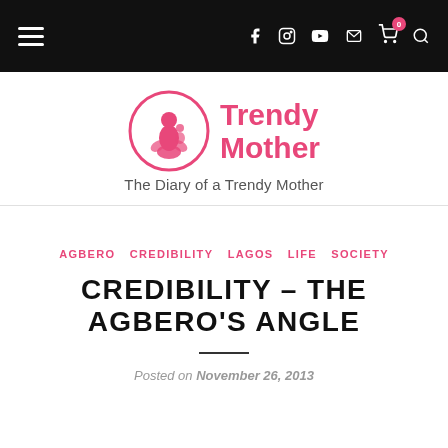Navigation bar with hamburger menu, social icons (Facebook, Instagram, YouTube, Email), cart (0), and search
[Figure (logo): Trendy Mother logo: pink circular emblem with mother and child figure, with text 'Trendy Mother' in pink]
The Diary of a Trendy Mother
AGBERO  CREDIBILITY  LAGOS  LIFE  SOCIETY
CREDIBILITY – THE AGBERO'S ANGLE
Posted on November 26, 2013